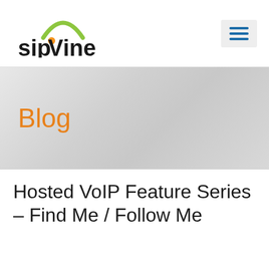[Figure (logo): sipVine logo with green arc above orange dot and black text 'sipVine']
Blog
Hosted VoIP Feature Series – Find Me / Follow Me